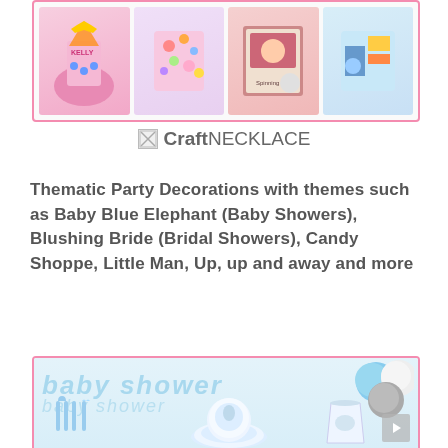[Figure (photo): Top row of party product images in a pink-bordered box showing personalized party hats, craft kits, themed frames, and decorations]
[Figure (logo): CraftNECKLACE logo with broken image icon and text]
Thematic Party Decorations with themes such as Baby Blue Elephant (Baby Showers), Blushing Bride (Bridal Showers), Candy Shoppe, Little Man, Up, up and away and more
[Figure (photo): Baby shower party decoration set with blue banner reading 'baby shower', blue white and grey pom-poms, blue cutlery, plate with elephant design, and cup, all in a pink-bordered box]